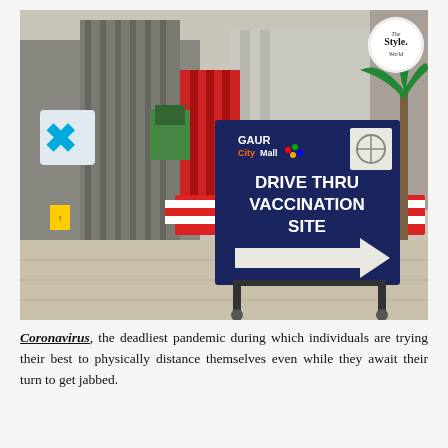[Figure (photo): Outdoor photo of a drive-thru vaccination site at Gaur City Mall. A large dark navy blue sign on wheels reads 'DRIVE THRU VACCINATION SITE' with a white arrow pointing right. The Gaur City Mall logo is visible at the top of the sign. Red and white traffic barriers are visible in the background. The mall building facade and trees are visible. A watermark logo 'The Style World' appears in the top right corner of the photo.]
Coronavirus, the deadliest pandemic during which individuals are trying their best to physically distance themselves even while they await their turn to get jabbed.